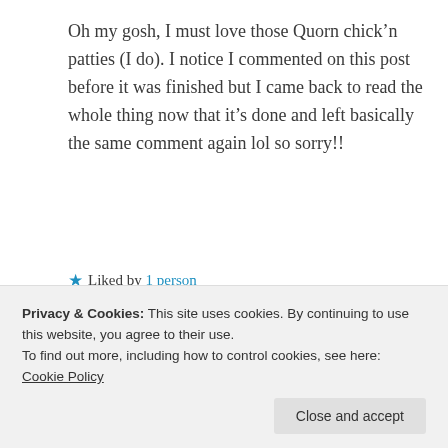Oh my gosh, I must love those Quorn chick’n patties (I do). I notice I commented on this post before it was finished but I came back to read the whole thing now that it’s done and left basically the same comment again lol so sorry!!
★ Liked by 1 person
▶ Reply
Privacy & Cookies: This site uses cookies. By continuing to use this website, you agree to their use. To find out more, including how to control cookies, see here: Cookie Policy
Close and accept
Haha I need to try these chick’n